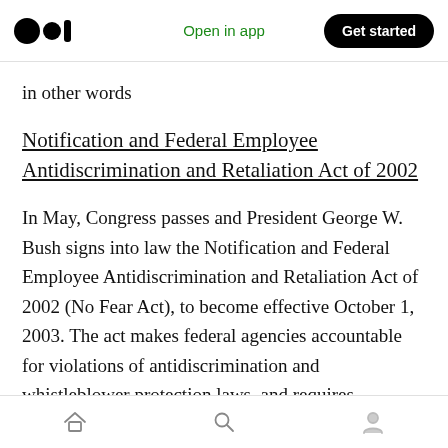Open in app | Get started
in other words
Notification and Federal Employee Antidiscrimination and Retaliation Act of 2002
In May, Congress passes and President George W. Bush signs into law the Notification and Federal Employee Antidiscrimination and Retaliation Act of 2002 (No Fear Act), to become effective October 1, 2003. The act makes federal agencies accountable for violations of antidiscrimination and whistleblower protection laws, and requires
Home | Search | Profile